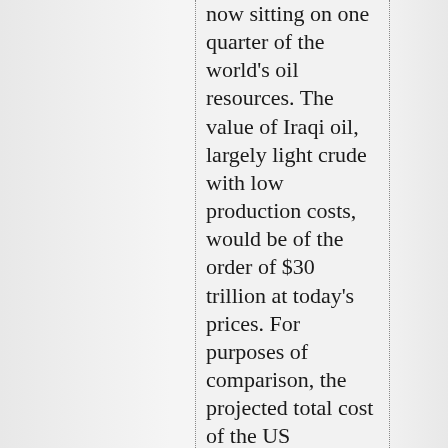now sitting on one quarter of the world's oil resources. The value of Iraqi oil, largely light crude with low production costs, would be of the order of $30 trillion at today's prices. For purposes of comparison, the projected total cost of the US invasion/occupation is around $1 trillion.